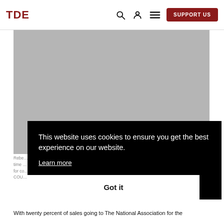TDE
[Figure (photo): Gray placeholder image area for article hero photo]
This website uses cookies to ensure you get the best experience on our website. Learn more
Got it
Rebe… time … for co… COU…
With twenty percent of sales going to The National Association for the